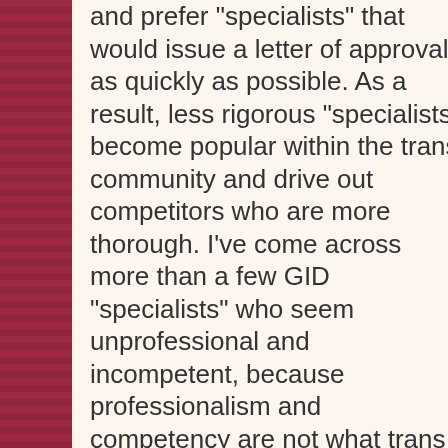and prefer "specialists" that would issue a letter of approval as quickly as possible. As a result, less rigorous "specialists" become popular within the trans community and drive out competitors who are more thorough. I've come across more than a few GID "specialists" who seem unprofessional and incompetent, because professionalism and competency are not what trans people look for in a GID counselor/psychiatrist. The only attributes required to succeed as a GID "specialist" are the ownership of medical (or sometimes psychotherapist) license and the ability to sign on a form letter (being disinterested in patient's well-being is actually a plus).